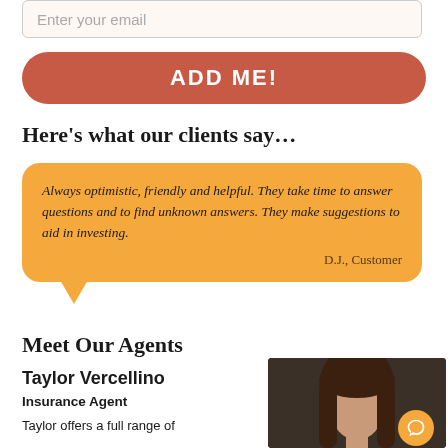Enter your email
ADD ME!
Here's what our clients say…
Always optimistic, friendly and helpful. They take time to answer questions and to find unknown answers. They make suggestions to aid in investing.
D.J., Customer
Meet Our Agents
Taylor Vercellino
Insurance Agent
Taylor offers a full range of
[Figure (photo): Professional headshot photo of Taylor Vercellino, an insurance agent with long brown hair]